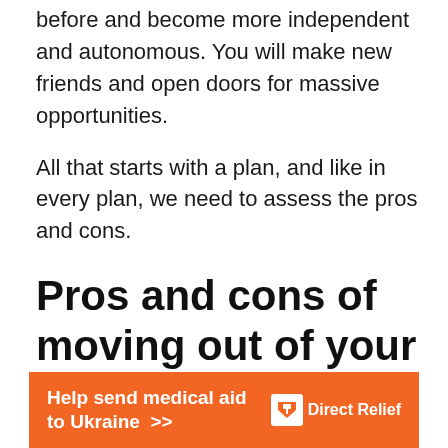before and become more independent and autonomous. You will make new friends and open doors for massive opportunities.
All that starts with a plan, and like in every plan, we need to assess the pros and cons.
Pros and cons of moving out of your parents’ house
Benefits of moving away from home:
[Figure (other): Orange advertisement banner: 'Help send medical aid to Ukraine >>' with DirectRelief logo on the right]